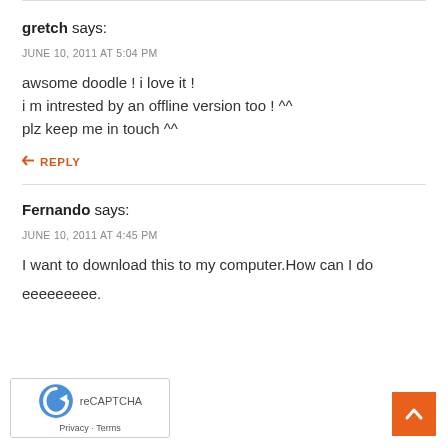gretch says:
JUNE 10, 2011 AT 5:04 PM
awsome doodle ! i love it !
i m intrested by an offline version too ! ^^
plz keep me in touch ^^
↩ REPLY
Fernando says:
JUNE 10, 2011 AT 4:45 PM
I want to download this to my computer.How can I do
eeeeeeeee.